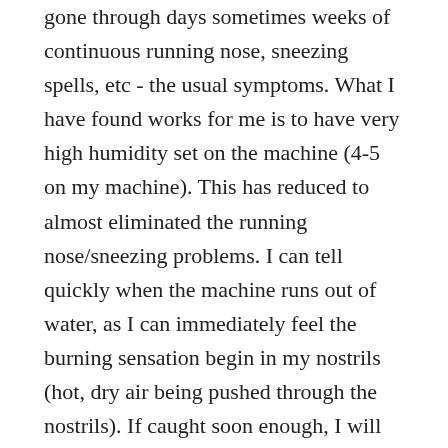gone through days sometimes weeks of continuous running nose, sneezing spells, etc - the usual symptoms. What I have found works for me is to have very high humidity set on the machine (4-5 on my machine). This has reduced to almost eliminated the running nose/sneezing problems. I can tell quickly when the machine runs out of water, as I can immediately feel the burning sensation begin in my nostrils (hot, dry air being pushed through the nostrils). If caught soon enough, I will normally only suffer one day of minor runny nose and sneezing.